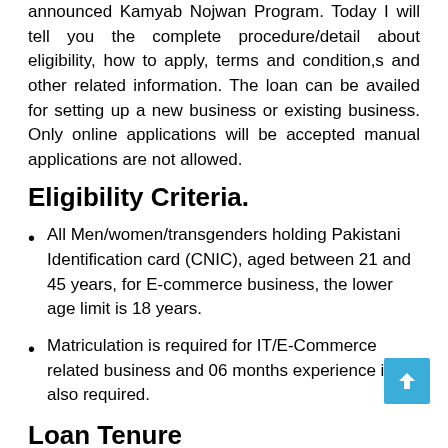announced Kamyab Nojwan Program. Today I will tell you the complete procedure/detail about eligibility, how to apply, terms and condition,s and other related information. The loan can be availed for setting up a new business or existing business. Only online applications will be accepted manual applications are not allowed.
Eligibility Criteria.
All Men/women/transgenders holding Pakistani Identification card (CNIC), aged between 21 and 45 years, for E-commerce business, the lower age limit is 18 years.
Matriculation is required for IT/E-Commerce related business and 06 months experience is also required.
Loan Tenure